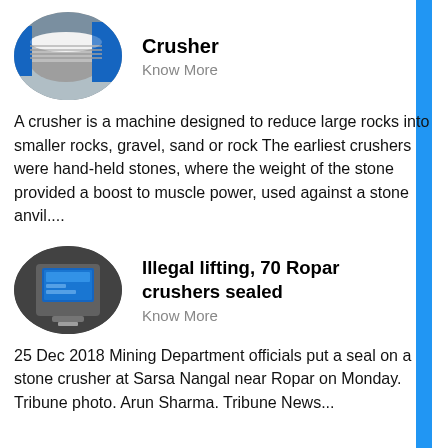[Figure (photo): Oval/elliptical cropped photo of a large industrial crusher machine, cylindrical, blue and silver colored, outdoors in a factory/industrial setting.]
Crusher
Know More
A crusher is a machine designed to reduce large rocks into smaller rocks, gravel, sand or rock The earliest crushers were hand-held stones, where the weight of the stone provided a boost to muscle power, used against a stone anvil....
[Figure (photo): Oval/elliptical cropped photo of an industrial control panel or computer kiosk with a large blue screen display, inside a factory or industrial facility.]
Illegal lifting, 70 Ropar crushers sealed
Know More
25 Dec 2018 Mining Department officials put a seal on a stone crusher at Sarsa Nangal near Ropar on Monday. Tribune photo. Arun Sharma. Tribune News...